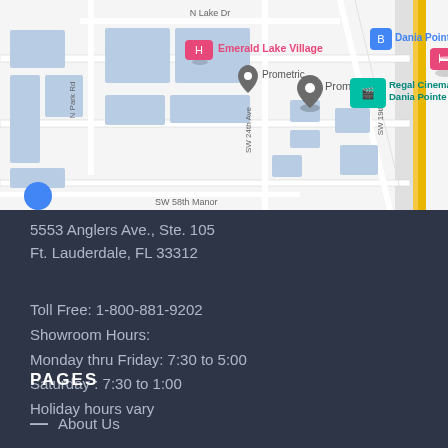[Figure (map): Google Maps showing Prometric location near Emerald Lake Village and Dania Pointe in Ft. Lauderdale, FL area. Shows N Lake Dr, N Park Rd, SW 24th Ave, SW 58th Manor, SW 19th streets. Blue building footprints on light grey road network. Yellow highway on right edge. Pink pin for Emerald Lake Village, grey pin for Prometric, teal pin for Regal Cinemas Dania Pointe, blue pin for Dania Pointe.]
5553 Anglers Ave., Ste. 105
Ft. Lauderdale, FL 33312
Toll Free: 1-800-881-9202
Showroom Hours:
Monday thru Friday: 7:30 to 5:00
Saturday : 7:30 to 1:00
Holiday hours vary
PAGES
About Us